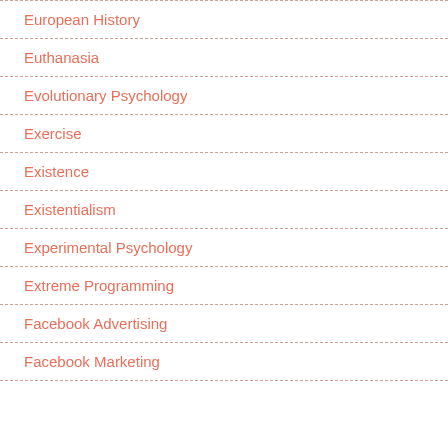European History
Euthanasia
Evolutionary Psychology
Exercise
Existence
Existentialism
Experimental Psychology
Extreme Programming
Facebook Advertising
Facebook Marketing